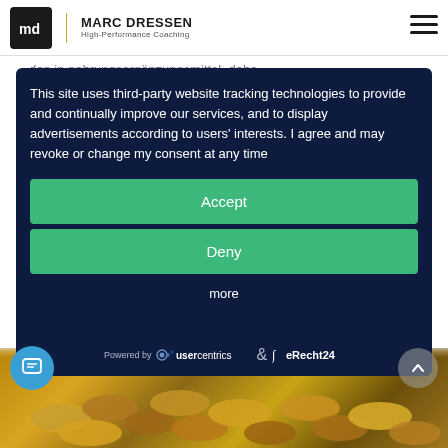MARC DRESSEN High-Performance Coaching
This site uses third-party website tracking technologies to provide and continually improve our services, and to display advertisements according to users' interests. I agree and may revoke or change my consent at any time
Accept
Deny
more
Powered by usercentrics & eRecht24